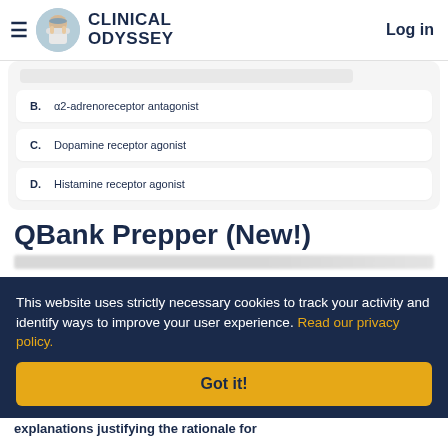CLINICAL ODYSSEY  Log in
B.  α2-adrenoreceptor antagonist
C.  Dopamine receptor agonist
D.  Histamine receptor agonist
QBank Prepper (New!)
This website uses strictly necessary cookies to track your activity and identify ways to improve your user experience. Read our privacy policy.
Got it!
explanations justifying the rationale for